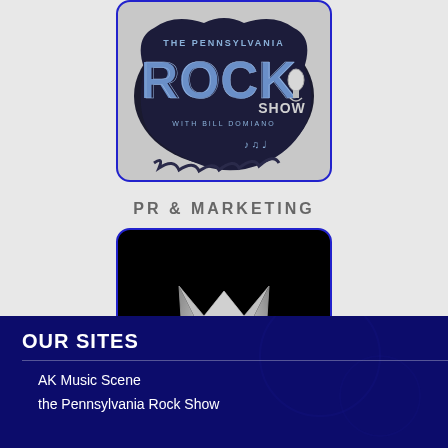[Figure (logo): The Pennsylvania Rock Show with Bill Domiano logo — large stylized 'ROCK' text with microphone and music notes on a dark splatter background, with 'SHOW' text]
PR & MARKETING
[Figure (logo): First Angel Media logo — silver metallic M/W crown-like symbol on black background with 'First Angel Media' cursive text below]
OUR SITES
AK Music Scene
the Pennsylvania Rock Show